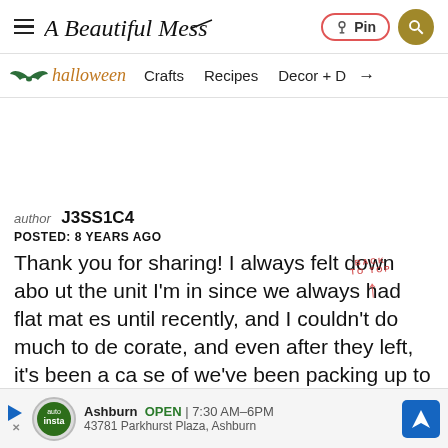A Beautiful Mess — Pin | Search
Halloween | Crafts | Recipes | Decor + →
author J3SS1C4
POSTED: 8 YEARS AGO
Thank you for sharing! I always felt down about the unit I'm in since we always had flat mates until recently, and I couldn't do much to decorate, and even after they left, it's been a case of we've been packing up to move and it's a me...arou nd, b...ction and r...
[Figure (screenshot): Bottom advertisement bar showing a local auto business: Ashburn OPEN 7:30AM-6PM, 43781 Parkhurst Plaza, Ashburn]